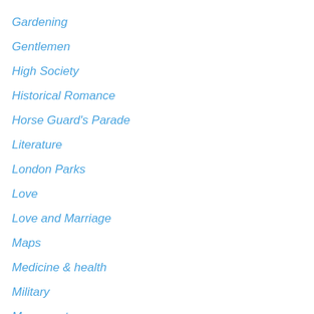Gardening
Gentlemen
High Society
Historical Romance
Horse Guard's Parade
Literature
London Parks
Love
Love and Marriage
Maps
Medicine & health
Military
Monuments
Napoleon
Prince Regent
Regency caricatures
Religion
Riots
Rivers
Royal family